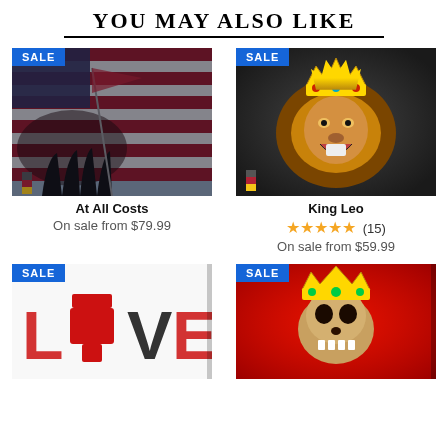YOU MAY ALSO LIKE
[Figure (photo): Canvas wall art print of Iwo Jima flag raising painted in American flag style]
At All Costs
On sale from $79.99
[Figure (photo): Canvas wall art print of a lion wearing a golden crown on dark background]
King Leo
★★★★★ (15)
On sale from $59.99
[Figure (photo): Canvas wall art print with LOVE text made of guns and grenades]
[Figure (photo): Canvas wall art print of skull wearing golden crown on red background]